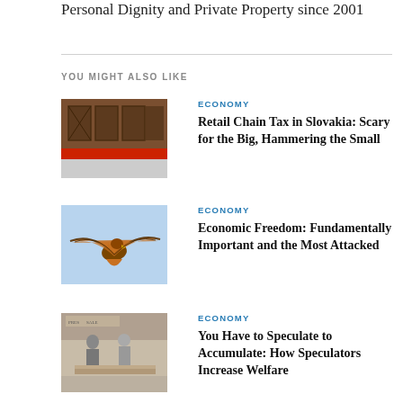Personal Dignity and Private Property since 2001
YOU MIGHT ALSO LIKE
ECONOMY
Retail Chain Tax in Slovakia: Scary for the Big, Hammering the Small
[Figure (photo): Storefront with boarded windows and red trim]
ECONOMY
Economic Freedom: Fundamentally Important and the Most Attacked
[Figure (photo): Eagle or hawk in flight against a blue sky]
ECONOMY
You Have to Speculate to Accumulate: How Speculators Increase Welfare
[Figure (photo): Black and white historical photo of people at a market stall]